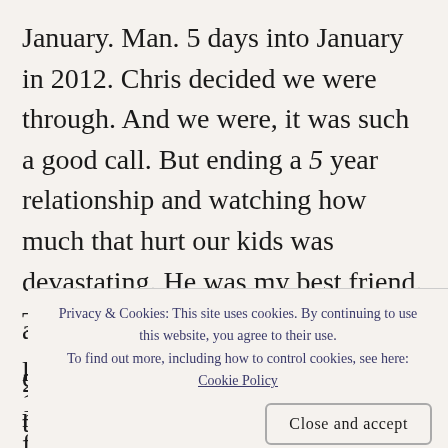January. Man. 5 days into January in 2012. Chris decided we were through. And we were, it was such a good call. But ending a 5 year relationship and watching how much that hurt our kids was devastating. He was my best friend. That shit was hard.
18 Days into 2013 we lost Casey. A few weeks into 2014 and we found out mom had pancreatic cancer a l c r m
Privacy & Cookies: This site uses cookies. By continuing to use this website, you agree to their use. To find out more, including how to control cookies, see here: Cookie Policy
Close and accept
2015. I've written about most of this before.